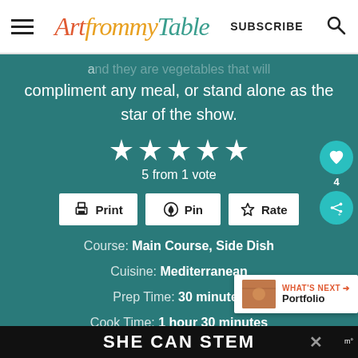[Figure (logo): Art from my Table website header with hamburger menu, script logo in orange/teal colors, SUBSCRIBE text, and search icon]
compliment any meal, or stand alone as the star of the show.
[Figure (infographic): 5 white filled stars rating]
5 from 1 vote
Print  Pin  Rate
Course: Main Course, Side Dish
Cuisine: Mediterranean
Prep Time: 30 minutes
Cook Time: 1 hour 30 minutes
Total Time: 2 hours  Servings: 8
WHAT'S NEXT → Portfolio
SHE CAN STEM